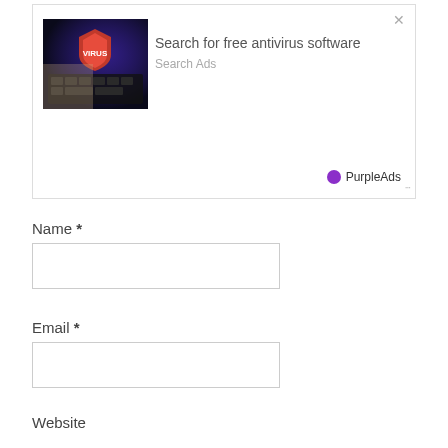[Figure (screenshot): Advertisement banner with antivirus software promotion. Shows a photo of hands typing on a keyboard with a red shield/antivirus logo overlay. Text reads 'Search for free antivirus software' and 'Search Ads'. Branded with PurpleAds logo (purple circle + text). Has an X close button in the top right and a resize handle in the bottom right.]
Name *
Email *
Website